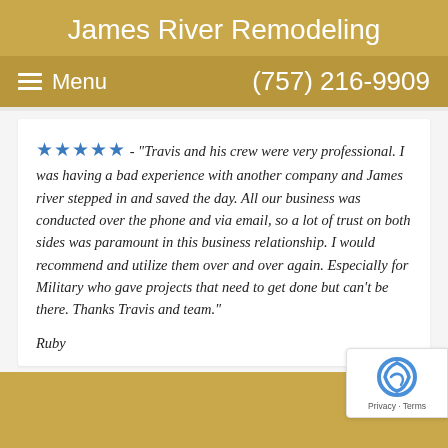James River Remodeling
Menu   (757) 216-9909
★★★★★ - "Travis and his crew were very professional. I was having a bad experience with another company and James river stepped in and saved the day. All our business was conducted over the phone and via email, so a lot of trust on both sides was paramount in this business relationship. I would recommend and utilize them over and over again. Especially for Military who gave projects that need to get done but can't be there. Thanks Travis and team."
Ruby